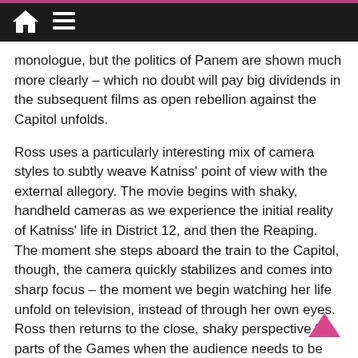[home icon] [menu icon]
monologue, but the politics of Panem are shown much more clearly – which no doubt will pay big dividends in the subsequent films as open rebellion against the Capitol unfolds.
Ross uses a particularly interesting mix of camera styles to subtly weave Katniss' point of view with the external allegory. The movie begins with shaky, handheld cameras as we experience the initial reality of Katniss' life in District 12, and then the Reaping. The moment she steps aboard the train to the Capitol, though, the camera quickly stabilizes and comes into sharp focus – the moment we begin watching her life unfold on television, instead of through her own eyes. Ross then returns to the close, shaky perspective for parts of the Games when the audience needs to be right there with Katniss, such as the opening bloodbath at the Cornucopia, her flight from the forest fire, and the tracker jacker hallucinations. For much of the Games though, and